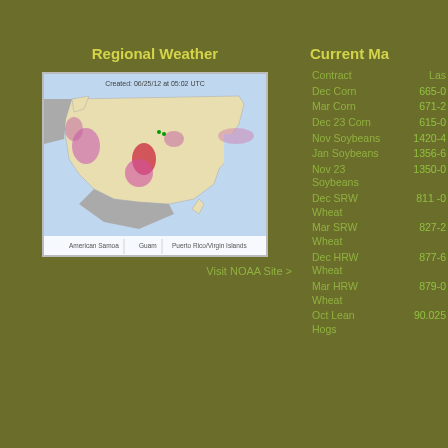Regional Weather
[Figure (map): NOAA regional weather map of the United States showing drought/weather conditions, created 06/25/12 at 05:02 UTC. Shows colored regions including pink/red areas in California, Texas/Oklahoma region, and Northeast. Includes American Samoa, Guam, Puerto Rico/Virgin Islands insets.]
Visit NOAA Site >
Current Ma
| Contract | Las |
| --- | --- |
| Dec Corn | 665-0 |
| Mar Corn | 671-2 |
| Dec 23 Corn | 615-0 |
| Nov Soybeans | 1420-4 |
| Jan Soybeans | 1356-6 |
| Nov 23 Soybeans | 1350-0 |
| Dec SRW Wheat | 811-0 |
| Mar SRW Wheat | 827-2 |
| Dec HRW Wheat | 877-6 |
| Mar HRW Wheat | 879-0 |
| Oct Lean Hogs | 90.025 |